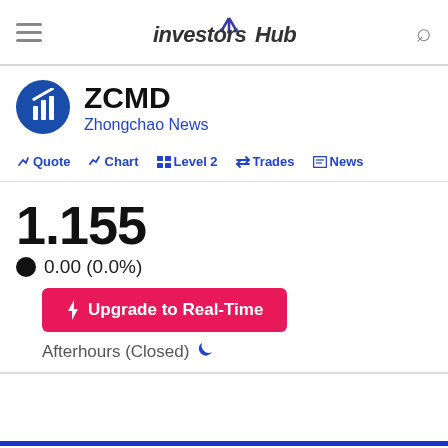investorsHub
ZCMD – Zhongchao News
Quote  Chart  Level 2  Trades  News
1.155
0.00 (0.0%)
Upgrade to Real-Time
Afterhours (Closed)